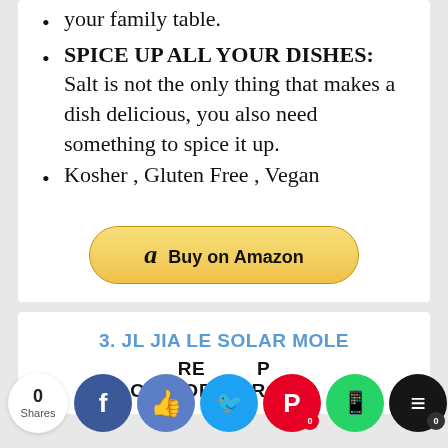your family table.
SPICE UP ALL YOUR DISHES: Salt is not the only thing that makes a dish delicious, you also need something to spice it up.
Kosher , Gluten Free , Vegan
[Figure (other): Buy on Amazon button with Amazon logo]
3. JL JIA LE SOLAR MOLE
...ELECTRONIC... (partial, cut off)
[Figure (other): Social share bar with 0 Shares, Facebook, Like, Twitter, Pinterest, WhatsApp, Buffer, Crown icons]